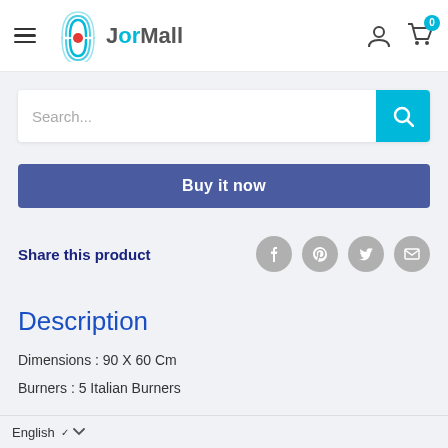[Figure (logo): JorMall logo with circular wave graphic and red dot]
Search...
Buy it now
Share this product
Description
Dimensions : 90 X 60 Cm
Burners : 5 Italian Burners
English